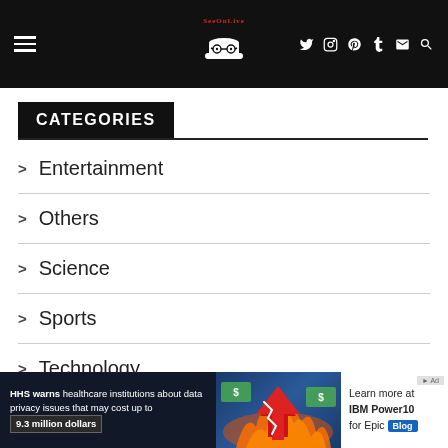SeeOnLive — navigation bar with logo, hamburger menu, and social icons
CATEGORIES
> Entertainment
> Others
> Science
> Sports
> Technology
[Figure (screenshot): Scroll down chevron button]
HHS warns healthcare institutions about data privacy issues that may cost up to 9.3 million dollars — Learn more at IBM Power10 for Epic Blog